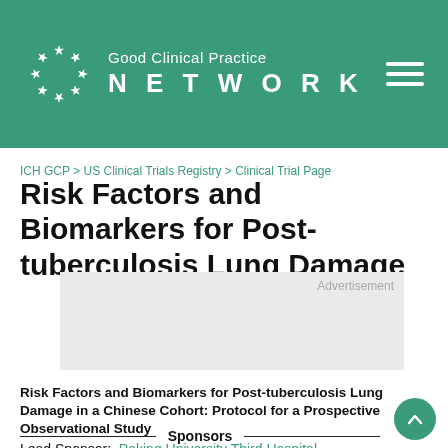[Figure (logo): Good Clinical Practice NETWORK logo with EU stars circle on teal/green header background]
ICH GCP > US Clinical Trials Registry > Clinical Trial Page
Risk Factors and Biomarkers for Post-tuberculosis Lung Damage
[Figure (other): Advertisement placeholder box]
Risk Factors and Biomarkers for Post-tuberculosis Lung Damage in a Chinese Cohort: Protocol for a Prospective Observational Study
Sponsors
Lead Sponsor:  Peking University Third Hospital